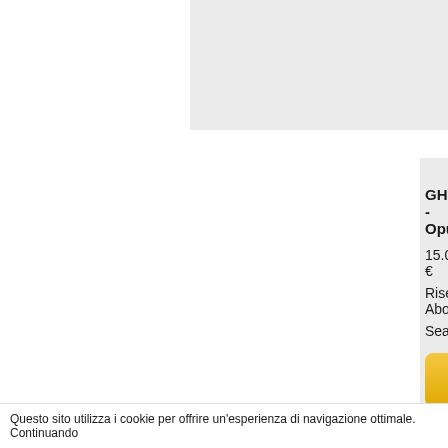[Figure (other): Top partial product card (cut off), light gray background]
GHOST - Opus
15.00 €
Rise Above
Sealed
[Figure (other): BUY NOW button, yellow/orange gradient, rounded corners]
GHOST - Melio
13.00 €
Rise Above / Spi
Sealed
[Figure (other): BUY NOW button, yellow/orange gradient, rounded corners]
Questo sito utilizza i cookie per offrire un'esperienza di navigazione ottimale. Continuando